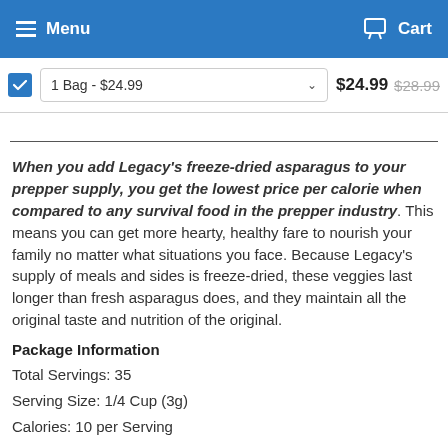Menu  Cart
1 Bag - $24.99   $24.99  $28.99
When you add Legacy's freeze-dried asparagus to your prepper supply, you get the lowest price per calorie when compared to any survival food in the prepper industry. This means you can get more hearty, healthy fare to nourish your family no matter what situations you face. Because Legacy's supply of meals and sides is freeze-dried, these veggies last longer than fresh asparagus does, and they maintain all the original taste and nutrition of the original.
Package Information
Total Servings: 35
Serving Size: 1/4 Cup (3g)
Calories: 10 per Serving
Details & Specs